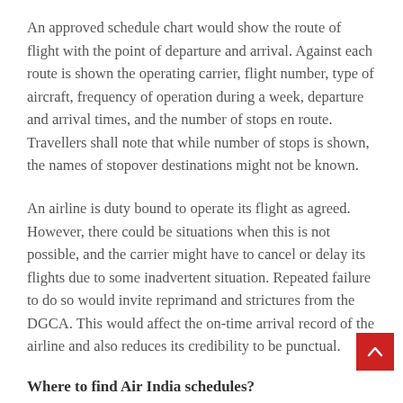An approved schedule chart would show the route of flight with the point of departure and arrival. Against each route is shown the operating carrier, flight number, type of aircraft, frequency of operation during a week, departure and arrival times, and the number of stops en route. Travellers shall note that while number of stops is shown, the names of stopover destinations might not be known.
An airline is duty bound to operate its flight as agreed. However, there could be situations when this is not possible, and the carrier might have to cancel or delay its flights due to some inadvertent situation. Repeated failure to do so would invite reprimand and strictures from the DGCA. This would affect the on-time arrival record of the airline and also reduces its credibility to be punctual.
Where to find Air India schedules?
These can be easily found on different online portals. For